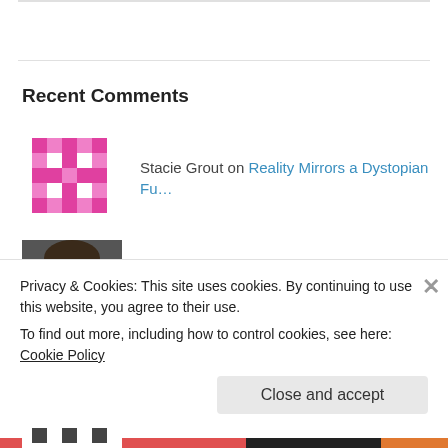Recent Comments
Stacie Grout on Reality Mirrors a Dystopian Fu…
Melinda Friesen on Subversion Launches
Doug Braun on Subversion Launches
Melinda Friesen on I'm Not Dead
Privacy & Cookies: This site uses cookies. By continuing to use this website, you agree to their use.
To find out more, including how to control cookies, see here: Cookie Policy
Close and accept